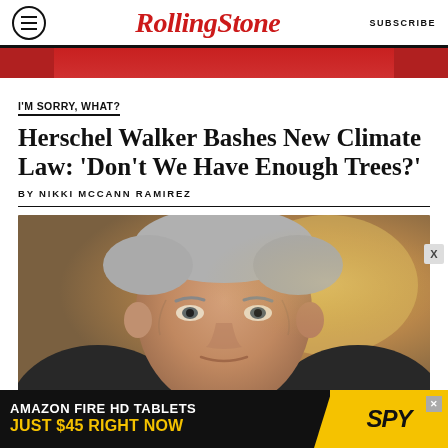RollingStone | SUBSCRIBE
[Figure (photo): Red banner image at top of article]
I'M SORRY, WHAT?
Herschel Walker Bashes New Climate Law: ‘Don’t We Have Enough Trees?’
BY NIKKI MCCANN RAMIREZ
[Figure (photo): Close-up portrait of an older man with gray hair looking slightly upward, warm golden-brown background]
AMAZON FIRE HD TABLETS JUST $45 RIGHT NOW | SPY